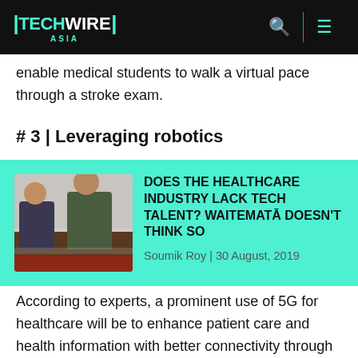TECHWIRE ASIA
enable medical students to walk a virtual pace through a stroke exam.
# 3 | Leveraging robotics
[Figure (photo): Two men seated at a desk, one in a dark suit and one in an olive/green shirt, appearing to be in a meeting or exam setting]
DOES THE HEALTHCARE INDUSTRY LACK TECH TALENT? WAITEMATā DOESN'T THINK SO
Soumik Roy | 30 August, 2019
According to experts, a prominent use of 5G for healthcare will be to enhance patient care and health information with better connectivity through